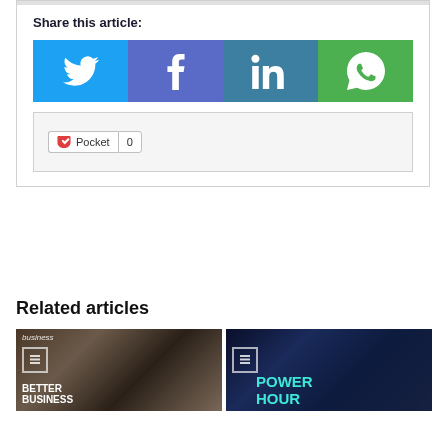Share this article:
[Figure (infographic): Social sharing buttons: Twitter (blue), Facebook (purple-blue), LinkedIn (teal-blue), WhatsApp (green)]
[Figure (screenshot): Pocket save button with count of 0]
Related articles
[Figure (photo): Business article thumbnail showing a phone with text BETTER BUSINESS]
[Figure (photo): Power Hour article thumbnail with blue curtain background and teal text POWER HOUR]